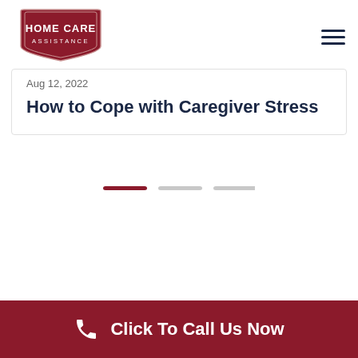[Figure (logo): Home Care Assistance logo — dark red shield/banner shape with white text reading HOME CARE ASSISTANCE]
Aug 12, 2022
How to Cope with Caregiver Stress
[Figure (infographic): Three horizontal pill-shaped progress dots/bars: first is dark red (active), second and third are light grey]
Click To Call Us Now